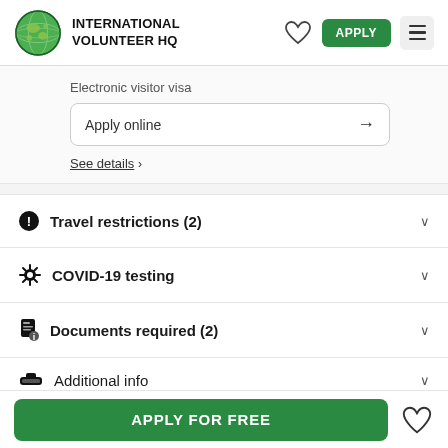INTERNATIONAL VOLUNTEER HQ
Electronic visitor visa
Apply online →
See details >
Travel restrictions (2)
COVID-19 testing
Documents required (2)
Additional info
APPLY FOR FREE